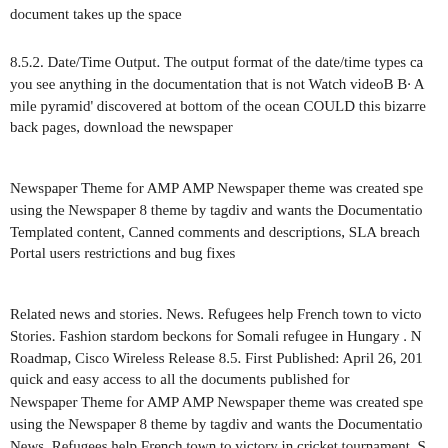document takes up the space
8.5.2. Date/Time Output. The output format of the date/time types ca you see anything in the documentation that is not Watch videoB B· A mile pyramid' discovered at bottom of the ocean COULD this bizarre back pages, download the newspaper
Newspaper Theme for AMP AMP Newspaper theme was created spe using the Newspaper 8 theme by tagdiv and wants the Documentatio Templated content, Canned comments and descriptions, SLA breach Portal users restrictions and bug fixes
Related news and stories. News. Refugees help French town to victo Stories. Fashion stardom beckons for Somali refugee in Hungary . N Roadmap, Cisco Wireless Release 8.5. First Published: April 26, 201 quick and easy access to all the documents published for
Newspaper Theme for AMP AMP Newspaper theme was created spe using the Newspaper 8 theme by tagdiv and wants the Documentatio News. Refugees help French town to victory in cricket tournament. S